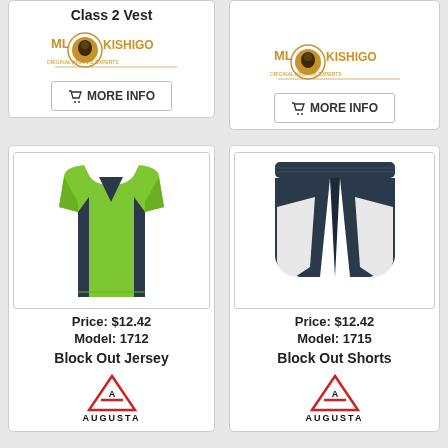Class 2 Vest
[Figure (logo): ML Kishigo logo - top left card]
MORE INFO
[Figure (logo): ML Kishigo logo - top right card]
MORE INFO
[Figure (photo): Green and dark navy reversible basketball jersey (Block Out Jersey)]
Price:  $12.42
Model: 1712
Block Out Jersey
[Figure (logo): Augusta Sportswear logo - bottom left]
[Figure (photo): Dark navy and white basketball shorts (Block Out Shorts)]
Price:  $12.42
Model: 1715
Block Out Shorts
[Figure (logo): Augusta Sportswear logo - bottom right]